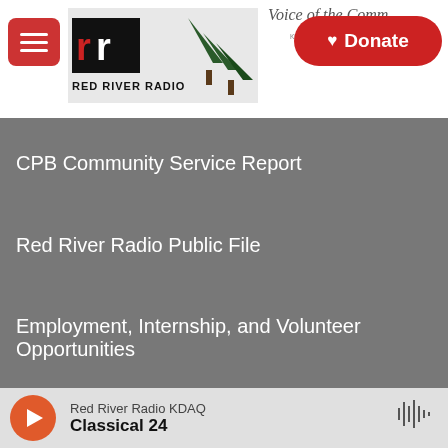[Figure (logo): Red River Radio logo with menu button and Donate button in header. Voice of the Community text with station frequencies. Hamburger menu (red), Red River Radio logo, BBC, American Public Media, Beethoven Network, CARS, Community Foundation of North Louisiana, LSUS Shreveport, NPR logos in footer area.]
CPB Community Service Report
Red River Radio Public File
Employment, Internship, and Volunteer Opportunities
Red River Radio KDAQ
Classical 24